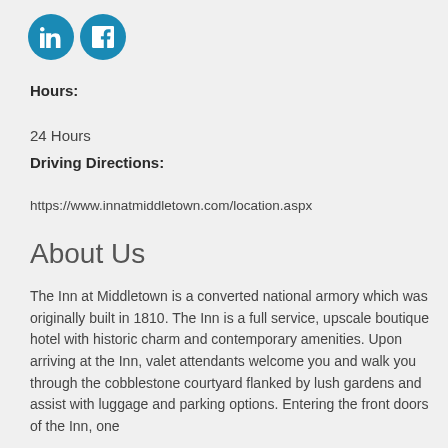[Figure (logo): LinkedIn and Facebook social media icon circles in blue]
Hours:
24 Hours
Driving Directions:
https://www.innatmiddletown.com/location.aspx
About Us
The Inn at Middletown is a converted national armory which was originally built in 1810. The Inn is a full service, upscale boutique hotel with historic charm and contemporary amenities. Upon arriving at the Inn, valet attendants welcome you and walk you through the cobblestone courtyard flanked by lush gardens and assist with luggage and parking options. Entering the front doors of the Inn, one